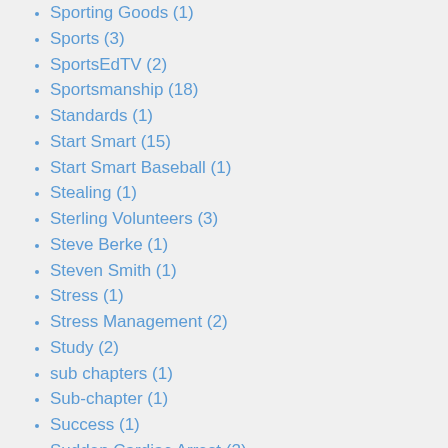Sporting Goods (1)
Sports (3)
SportsEdTV (2)
Sportsmanship (18)
Standards (1)
Start Smart (15)
Start Smart Baseball (1)
Stealing (1)
Sterling Volunteers (3)
Steve Berke (1)
Steven Smith (1)
Stress (1)
Stress Management (2)
Study (2)
sub chapters (1)
Sub-chapter (1)
Success (1)
Sudden Cardiac Arrest (2)
Survey (3)
Swimming (1)
Tamarac (1)
T-ball (1)
Teaching (5)